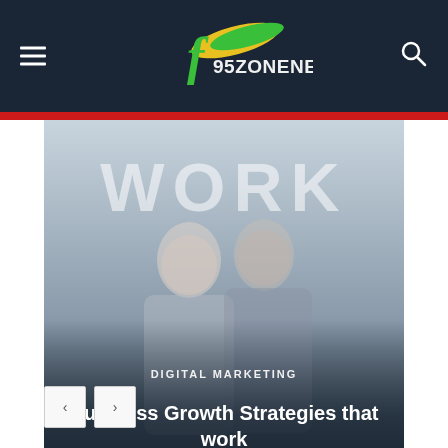f95zonenews.com
[Figure (photo): Hero image showing two people (business professionals) with 'WORK' text overlay, dark gradient overlay at bottom. Category label 'DIGITAL MARKETING' and article title 'Business Growth Strategies that work' overlaid on bottom portion.]
DIGITAL MARKETING
Business Growth Strategies that work